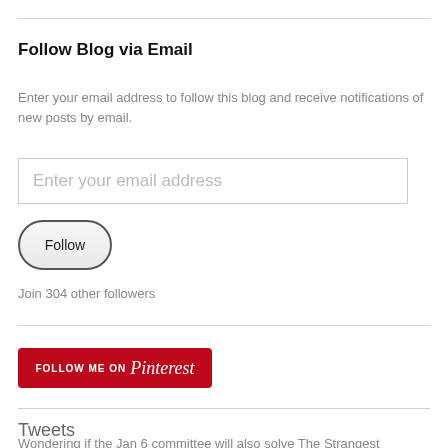Follow Blog via Email
Enter your email address to follow this blog and receive notifications of new posts by email.
Enter your email address
Follow
Join 304 other followers
[Figure (other): Red Pinterest Follow Me On Pinterest button]
Tweets
Wondering if the Jan 6 committee will also solve The Strangest Ongoing